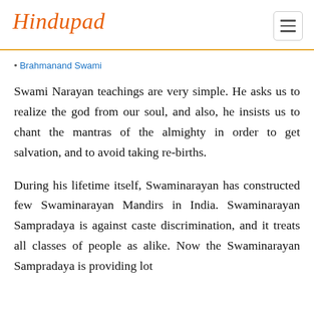Hindupad
Brahmanand Swami
Swami Narayan teachings are very simple. He asks us to realize the god from our soul, and also, he insists us to chant the mantras of the almighty in order to get salvation, and to avoid taking re-births.
During his lifetime itself, Swaminarayan has constructed few Swaminarayan Mandirs in India. Swaminarayan Sampradaya is against caste discrimination, and it treats all classes of people as alike. Now the Swaminarayan Sampradaya is providing lot